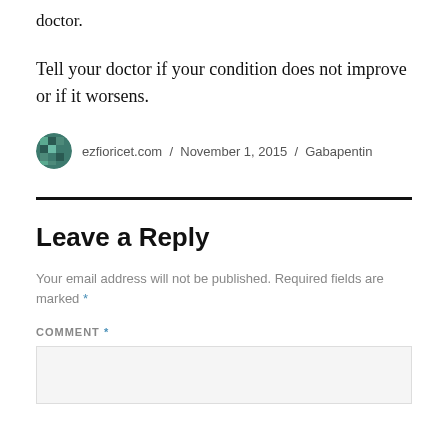doctor.
Tell your doctor if your condition does not improve or if it worsens.
ezfioricet.com / November 1, 2015 / Gabapentin
Leave a Reply
Your email address will not be published. Required fields are marked *
COMMENT *